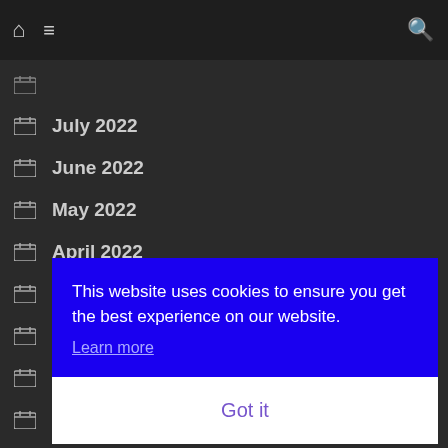Navigation bar with home icon, hamburger menu, and search icon
July 2022
June 2022
May 2022
April 2022
Ma...
Fe...
Ja...
De...
No...
October 2021
This website uses cookies to ensure you get the best experience on our website. Learn more
Got it